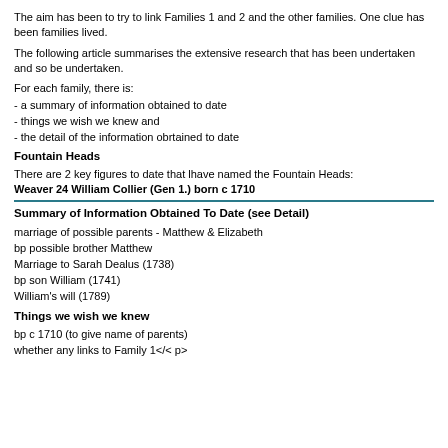The aim has been to try to link Families 1 and 2 and the other families. One clue has been families lived.
The following article summarises the extensive research that has been undertaken and so be undertaken.
For each family, there is:
- a summary of information obtained to date
- things we wish we knew and
- the detail of the information obrtained to date
Fountain Heads
There are 2 key figures to date that lhave named the Fountain Heads:
Weaver 24 William Collier (Gen 1.)  born c 1710
Summary of Information Obtained To Date (see Detail)
marriage of possible parents - Matthew & Elizabeth
bp possible brother Matthew
Marriage to Sarah Dealus (1738)
bp son William (1741)
William's will (1789)
Things we wish we knew
bp c 1710 (to give name of parents)
whether any links to Family 1</< p>